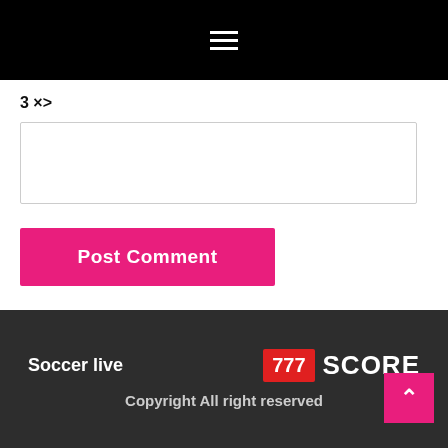≡
3 × one =
Post Comment
Soccer live  777 SCORE  Copyright All right reserved